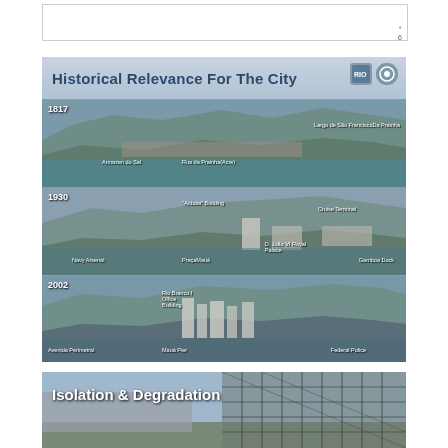[Figure (other): Empty white box at top of page]
6
[Figure (infographic): Historical Relevance For The City panel showing three aerial panoramic photos of Rio de Janeiro port area in 1817, 1930, and 2002 with annotated landmarks including Largo de São FranciscoDa Prainha, Armazen do Sal, Rua da Prainha(Acre), 'Anbóia' Building, Cruise Terminal, Navy Arsenal, PraçaMauá, D. João VI Royal Palace, Gamboa Dock, Rio Branco I Office Building, Avenida Perimetral, Mauá Pier, Federal Police]
[Figure (photo): Isolation & Degradation panel showing an aerial photo of a degraded industrial/port structure with metal framework visible]